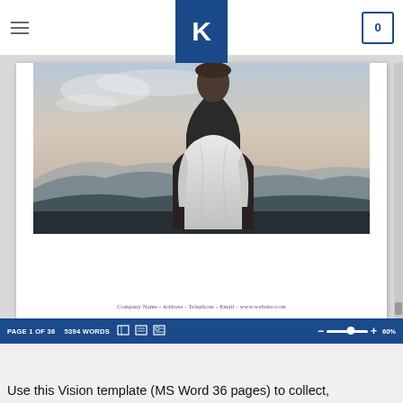[Figure (screenshot): Screenshot of a website showing a document preview. Top nav bar with hamburger menu, K logo in blue square, and cart icon with 0. Document page shows a photo of a man in white t-shirt viewed from behind standing on a mountain overlook with misty blue hills. Below the photo: 'Company Name - Address - Telephone - Email - www.website.com'. Blue status bar at bottom: PAGE 1 OF 36, 5394 WORDS, toolbar icons, zoom slider at 60%.]
Use this Vision template (MS Word 36 pages) to collect,